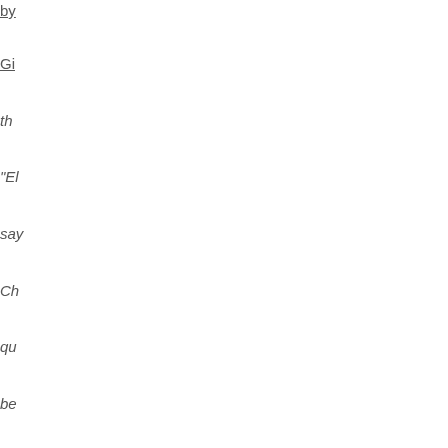by
Gi
th
"El
say
Ch
qu
be
lan
Wh
ma
in
the
wo
Ye
An
I
am